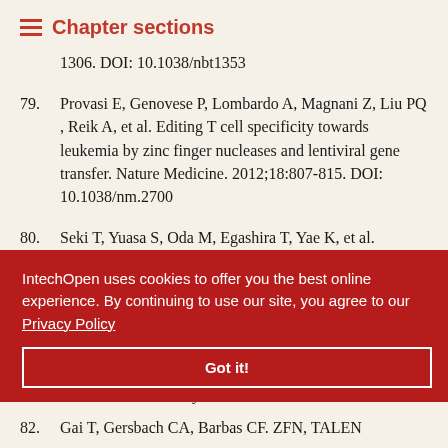Chapter sections
1306. DOI: 10.1038/nbt1353
79. Provasi E, Genovese P, Lombardo A, Magnani Z, Liu PQ, Reik A, et al. Editing T cell specificity towards leukemia by zinc finger nucleases and lentiviral gene transfer. Nature Medicine. 2012;18:807-815. DOI: 10.1038/nm.2700
80. Seki T, Yuasa S, Oda M, Egashira T, Yae K, et al. Generation of induced pluripotent stem cells from human terminally differentiated circulating T cells. Cell Stem Cell. 2010;7:11-14.
...CRISPR ...iews. Drug ...ynrd4546
82. Gai T, Gersbach CA, Barbas CF. ZFN, TALEN...